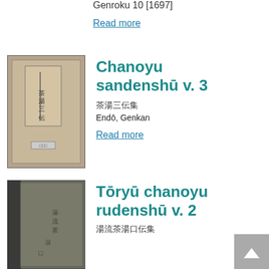Genroku 10 [1697]
Read more
[Figure (photo): Cover of Chanoyu sandenshū v. 3, a Japanese book with handwritten text on a tan/brown paper label on a grey cover]
Chanoyu sandenshū v. 3
茶湯三伝集
Endō, Genkan
Read more
[Figure (photo): Cover of Tōryū chanoyu rudenshū v. 2, a Japanese book with a dark greenish-grey cover with handwritten text]
Tōryū chanoyu rudenshū v. 2
湯流茶湯口伝集